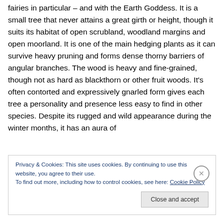fairies in particular – and with the Earth Goddess. It is a small tree that never attains a great girth or height, though it suits its habitat of open scrubland, woodland margins and open moorland. It is one of the main hedging plants as it can survive heavy pruning and forms dense thorny barriers of angular branches. The wood is heavy and fine-grained, though not as hard as blackthorn or other fruit woods. It's often contorted and expressively gnarled form gives each tree a personality and presence less easy to find in other species. Despite its rugged and wild appearance during the winter months, it has an aura of
Privacy & Cookies: This site uses cookies. By continuing to use this website, you agree to their use.
To find out more, including how to control cookies, see here: Cookie Policy
Close and accept